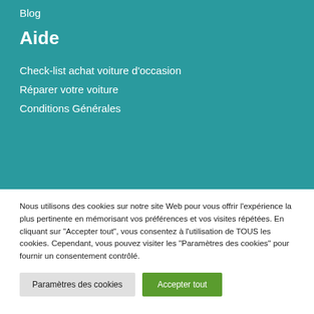Blog
Aide
Check-list achat voiture d'occasion
Réparer votre voiture
Conditions Générales
Nous utilisons des cookies sur notre site Web pour vous offrir l'expérience la plus pertinente en mémorisant vos préférences et vos visites répétées. En cliquant sur "Accepter tout", vous consentez à l'utilisation de TOUS les cookies. Cependant, vous pouvez visiter les "Paramètres des cookies" pour fournir un consentement contrôlé.
Paramètres des cookies
Accepter tout